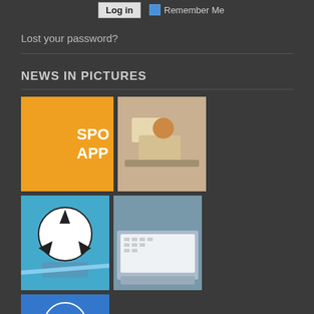Log in   Remember Me
Lost your password?
NEWS IN PICTURES
[Figure (photo): Grid of 5 thumbnail images: orange SPO/APP graphic, classroom scene, soccer ball, laptop keyboard, WordPress hosting review]
CATEGORIES
Application
Casino
Electronics
Featured